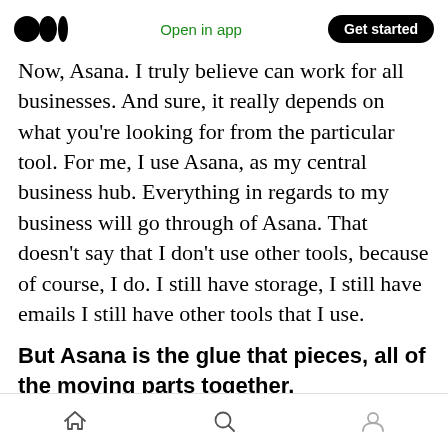Medium logo | Open in app | Get started
Now, Asana. I truly believe can work for all businesses. And sure, it really depends on what you're looking for from the particular tool. For me, I use Asana, as my central business hub. Everything in regards to my business will go through of Asana. That doesn't say that I don't use other tools, because of course, I do. I still have storage, I still have emails I still have other tools that I use.
But Asana is the glue that pieces, all of the moving parts together.
And by piecing, all the moving parts together, it
Home | Search | Profile